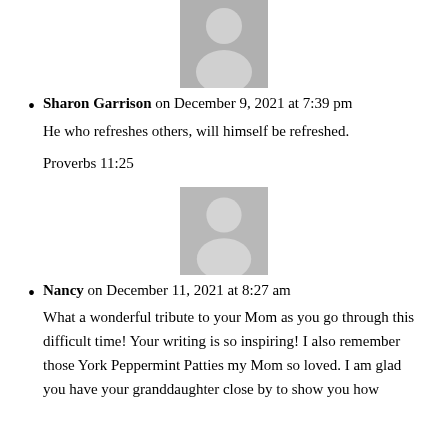[Figure (illustration): Gray placeholder avatar icon (partial, cropped at top) showing a silhouette of a person, centered on the page]
Sharon Garrison on December 9, 2021 at 7:39 pm
He who refreshes others, will himself be refreshed.

Proverbs 11:25
[Figure (illustration): Gray placeholder avatar icon showing a silhouette of a person, centered on the page]
Nancy on December 11, 2021 at 8:27 am
What a wonderful tribute to your Mom as you go through this difficult time! Your writing is so inspiring! I also remember those York Peppermint Patties my Mom so loved. I am glad you have your granddaughter close by to show you how